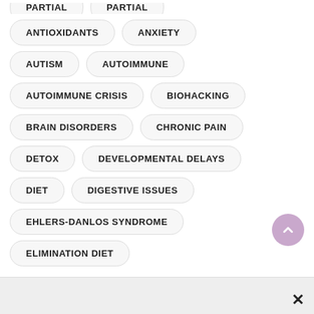ANTIOXIDANTS
ANXIETY
AUTISM
AUTOIMMUNE
AUTOIMMUNE CRISIS
BIOHACKING
BRAIN DISORDERS
CHRONIC PAIN
DETOX
DEVELOPMENTAL DELAYS
DIET
DIGESTIVE ISSUES
EHLERS-DANLOS SYNDROME
ELIMINATION DIET